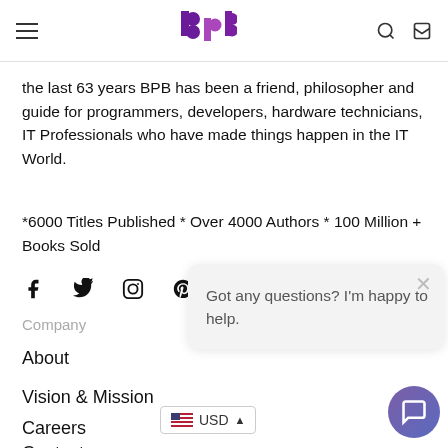BPB Publications – site header with logo and nav icons
the last 63 years BPB has been a friend, philosopher and guide for programmers, developers, hardware technicians, IT Professionals who have made things happen in the IT World.
*6000 Titles Published * Over 4000 Authors * 100 Million + Books Sold
[Figure (other): Social media icons row: Facebook, Twitter, Instagram, Pinterest, YouTube, LinkedIn]
Company
About
Vision & Mission
Careers
Contact
[Figure (other): Chat popup dialog: 'Got any questions? I'm happy to help.' with close button and chat launcher button]